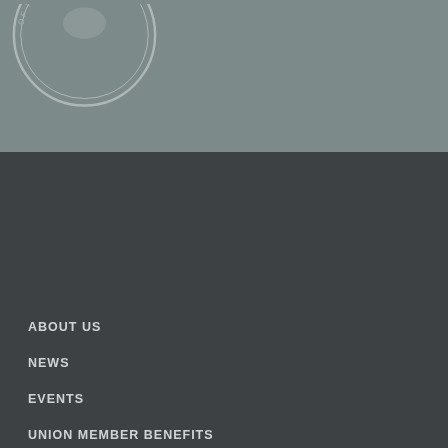[Figure (logo): AFL-CIO circular seal/logo partial view showing 'OF INDUSTRIAL ORGA...' text around the edge]
ABOUT US
NEWS
EVENTS
UNION MEMBER BENEFITS
TAKE ACTION
SCHOLARSHIPS
© AFL-CIO. All rights reserved. Photographs and illustrations, as well as text, cannot be